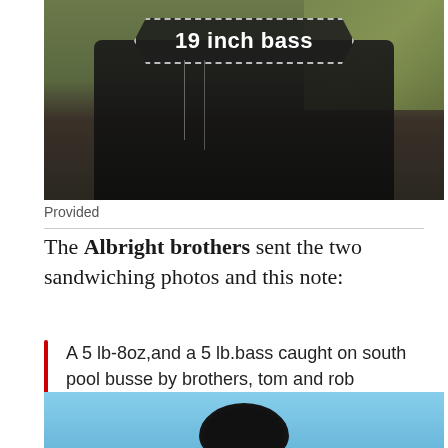[Figure (photo): Photo of a person holding a large bass fish outdoors, with a dark banner overlay reading '19 inch bass' with a dashed border in white text.]
Provided
The Albright brothers sent the two sandwiching photos and this note:
A 5 lb-8oz,and a 5 lb.bass caught on south pool busse by brothers, tom and rob albright.part of a 15 bass day.all were fat and loaded with eggs. The bite is on!
[Figure (photo): Photo of a person holding a large bass fish against a blue sky background, with a dark hat visible.]